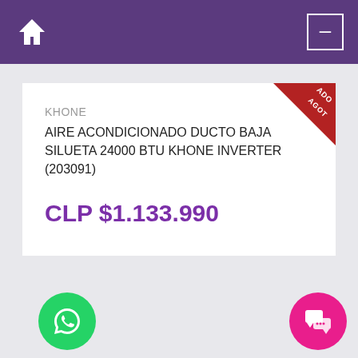Navigation bar with home icon and menu button
KHONE
AIRE ACONDICIONADO DUCTO BAJA SILUETA 24000 BTU KHONE INVERTER (203091)
CLP $1.133.990
[Figure (screenshot): Mobile e-commerce product page screenshot showing a product listing for AIRE ACONDICIONADO DUCTO BAJA SILUETA 24000 BTU KHONE INVERTER priced at CLP $1.133.990 with an AGOTADO (sold out) badge, WhatsApp and chat floating action buttons]